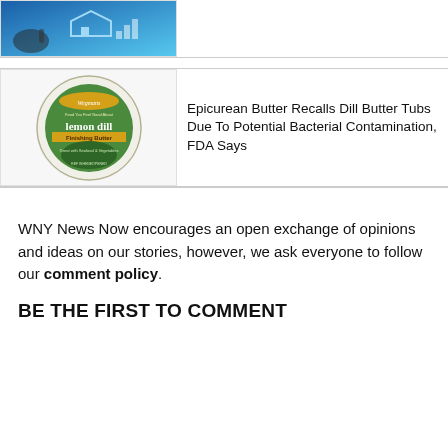[Figure (photo): Finance/real estate related image with blue tones, showing a hand and a house graphic]
[Figure (photo): Wegmans lemon dill finishing butter product lid/label - green circular label]
Epicurean Butter Recalls Dill Butter Tubs Due To Potential Bacterial Contamination, FDA Says
WNY News Now encourages an open exchange of opinions and ideas on our stories, however, we ask everyone to follow our comment policy.
BE THE FIRST TO COMMENT